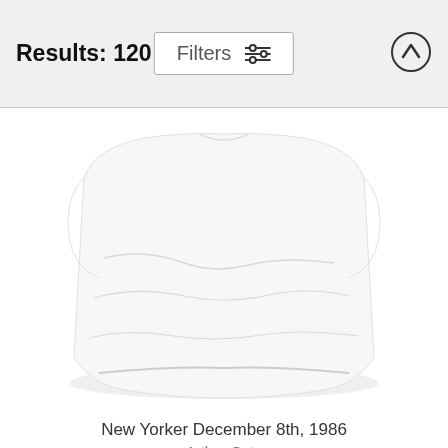Results: 120   Filters
[Figure (photo): White folded t-shirt product photo, bottom portion visible on light background]
New Yorker December 8th, 1986
Arthur Getz
$35
[Figure (photo): White t-shirt product photo with printed graphic, partially visible at bottom of page]